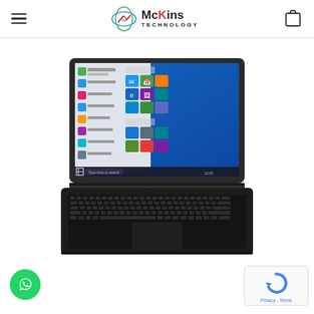McKins Technology
[Figure (photo): Lenovo laptop open, showing Windows 10 Start menu on screen, dark gray body with keyboard visible, front-facing view]
[Figure (logo): reCAPTCHA badge with Privacy and Terms links]